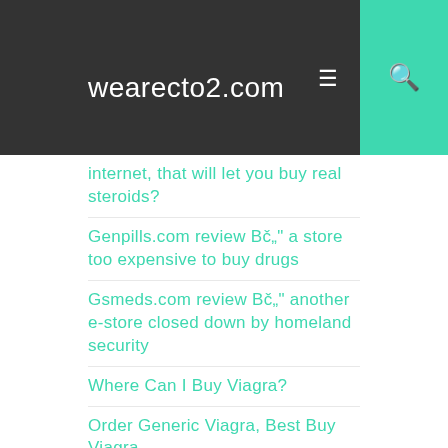wearecto2.com
internet, that will let you buy real steroids?
Genpills.com review вЂ" a store too expensive to buy drugs
Gsmeds.com review вЂ" another e-store closed down by homeland security
Where Can I Buy Viagra?
Order Generic Viagra, Best Buy Viagra
Dora Westerlund
Prostitution Prices
Canadian Drugstore No Prescription
Generic Cialis Online Canadian Pharmacy - Best Online Drugstore
Panzol 40 Mg Tablet